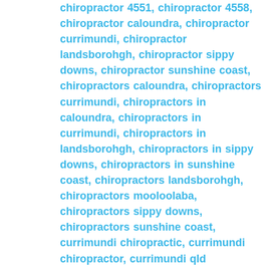chiropractor 4551, chiropractor 4558, chiropractor caloundra, chiropractor currimundi, chiropractor landsborohgh, chiropractor sippy downs, chiropractor sunshine coast, chiropractors caloundra, chiropractors currimundi, chiropractors in caloundra, chiropractors in currimundi, chiropractors in landsborohgh, chiropractors in sippy downs, chiropractors in sunshine coast, chiropractors landsborohgh, chiropractors mooloolaba, chiropractors sippy downs, chiropractors sunshine coast, currimundi chiropractic, currimundi chiropractor, currimundi qld chiropractor, kawana chiropractic, kawana chiropractor, kawana chiropractors, landsborohgh chiropractic, landsborohgh chiropractor, landsborohgh qld chiropractor, mooloolaba chiropractic, mooloolaba chiropractor, mountain creek chiropractic, mountain creek chiropractor, mountain creek chiropractors, sippy downs chiropractic, sippy downs chiropractor, sippy downs qld chiropractor, sunshine coast chiropractic, sunshine coast chiropractor, sunshine coast qld chiropractor